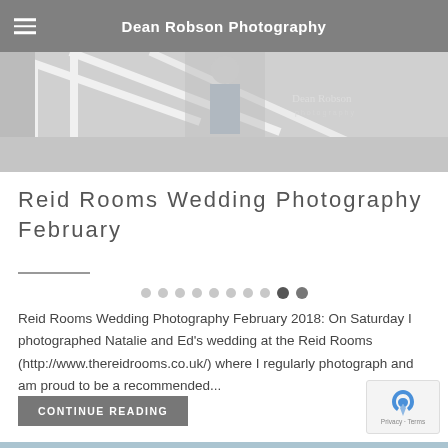Dean Robson Photography
[Figure (photo): Wedding photo showing couple or venue with white architectural elements and Dean Robson Photography watermark]
Reid Rooms Wedding Photography February
[Figure (other): Slider navigation dots, 9 dots total with the 8th and 9th darker/active]
Reid Rooms Wedding Photography February 2018: On Saturday I photographed Natalie and Ed's wedding at the Reid Rooms (http://www.thereidrooms.co.uk/) where I regularly photograph and am proud to be a recommended...
CONTINUE READING